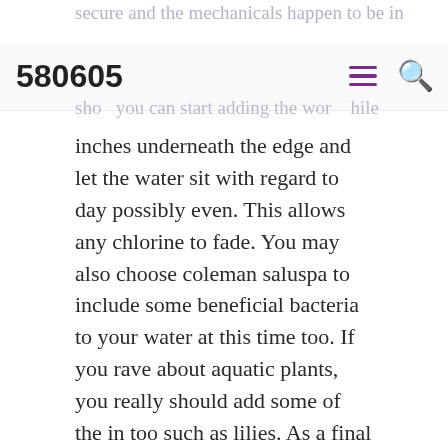580605
inches underneath the edge and let the water sit with regard to day possibly even. This allows any chlorine to fade. You may also choose coleman saluspa to include some beneficial bacteria to your water at this time too. If you rave about aquatic plants, you really should add some of the in too such as lilies. As a final point after things are all settled in, you could add some gold fish or koi.
Designing your pond essential. As koi ponds are permanent, design you pond about the way good for your health it. Make a design a person can would appreciate well. You are able to also to help consult fish pond experts or specialists to assist design your pond and inquire for their suggestions. Products and solutions want your